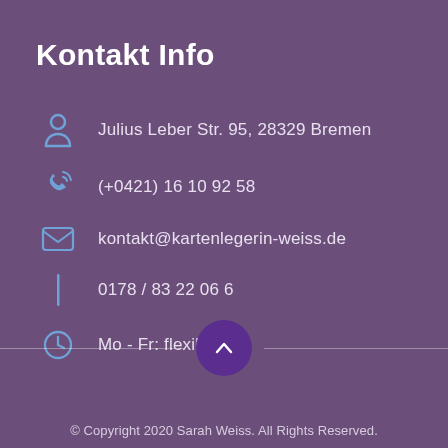Kontakt Info
Julius Leber Str. 95, 28329 Bremen
(+0421) 16 10 92 58
kontakt@kartenlegerin-weiss.de
0178 / 83 22 06 6
Mo - Fr: flexibel
© Copyright 2020 Sarah Weiss. All Rights Reserved.